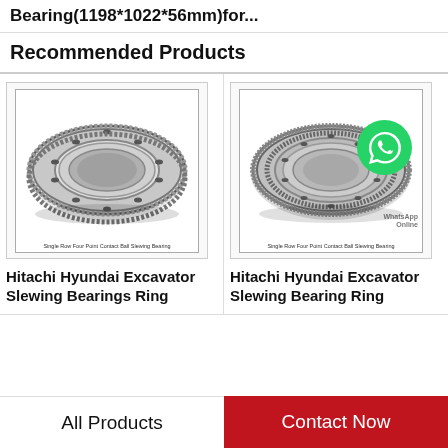Bearing(1198*1022*56mm)for...
Recommended Products
[Figure (photo): Single Row Four Point Contact Ball Slewing Bearing - Hitachi Hyundai Excavator Slewing Bearings Ring product image]
Hitachi Hyundai Excavator Slewing Bearings Ring
[Figure (photo): Single Row Four Point Contact Ball Slewing Bearing with WhatsApp Online overlay - Hitachi Hyundai Excavator Slewing Bearing Ring product image]
Hitachi Hyundai Excavator Slewing Bearing Ring
All Products | Contact Now